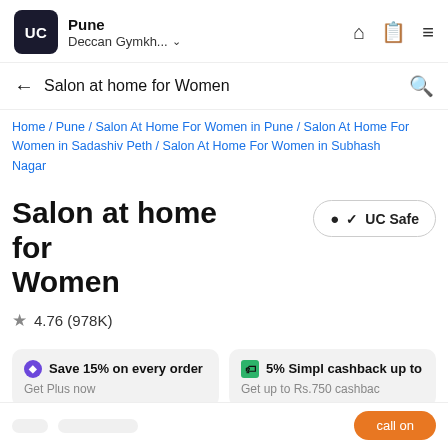UC | Pune | Deccan Gymkh... ∨
Salon at home for Women
Home / Pune / Salon At Home For Women in Pune / Salon At Home For Women in Sadashiv Peth / Salon At Home For Women in Subhash Nagar
Salon at home for Women
★ 4.76 (978K)
Save 15% on every order
Get Plus now
5% Simpl cashback up to
Get up to Rs.750 cashbac